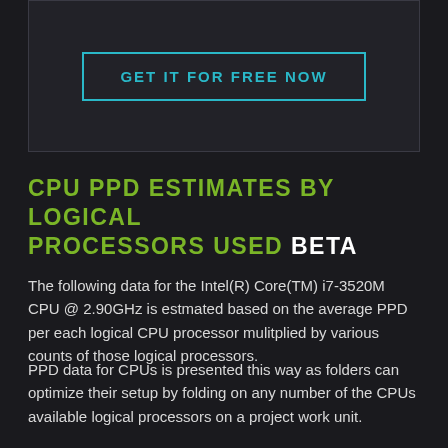[Figure (other): Dark box with a cyan-bordered button labeled GET IT FOR FREE NOW]
CPU PPD ESTIMATES BY LOGICAL PROCESSORS USED BETA
The following data for the Intel(R) Core(TM) i7-3520M CPU @ 2.90GHz is estmated based on the average PPD per each logical CPU processor mulitplied by various counts of those logical processors.
PPD data for CPUs is presented this way as folders can optimize their setup by folding on any number of the CPUs available logical processors on a project work unit.